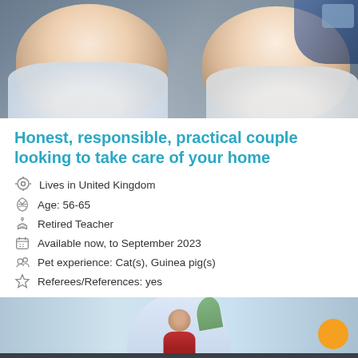[Figure (photo): Photo of a smiling couple, close up, both wearing light-colored tops, indoors with background activity]
Honest, responsible, practical couple looking to take care of your home
Lives in United Kingdom
Age: 56-65
Retired Teacher
Available now, to September 2023
Pet experience: Cat(s), Guinea pig(s)
Referees/References: yes
[Figure (photo): Photo showing an outdoor scene with an arched doorway/entrance, a person visible inside, blurred background with blue sky and greenery, orange circle element in lower right]
CHANGE SEARCH FILTERS